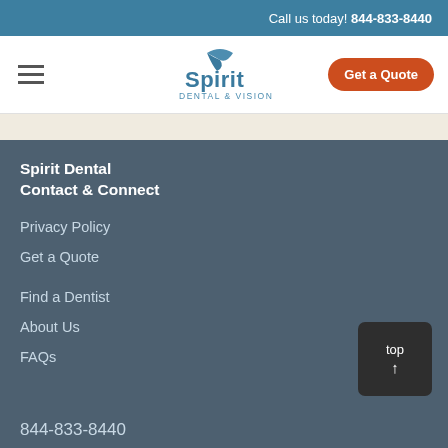Call us today! 844-833-8440
[Figure (logo): Spirit Dental & Vision logo with stylized bird/check mark above text]
Get a Quote
Spirit Dental
Contact & Connect
Privacy Policy
Get a Quote
Find a Dentist
About Us
FAQs
top↑
844-833-8440